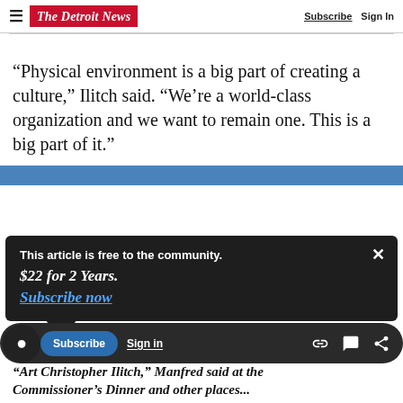The Detroit News — Subscribe Sign In
“Physical environment is a big part of creating a culture,” Ilitch said. “We’re a world-class organization and we want to remain one. This is a big part of it.”
This article is free to the community. $22 for 2 Years. Subscribe now
“Art Christopher Ilitch,” Manfred said at the Commissioner’s Dinner and other places...